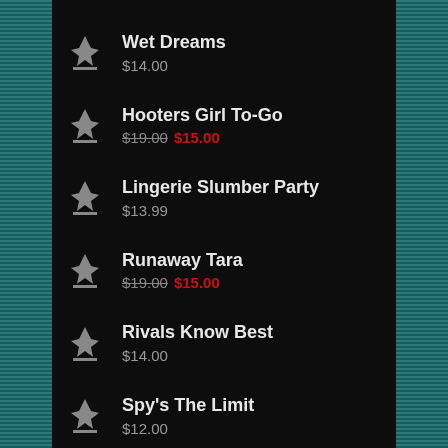Wet Dreams $14.00
Hooters Girl To-Go $19.00 $15.00
Lingerie Slumber Party $13.99
Runaway Tara $19.00 $15.00
Rivals Know Best $14.00
Spy's The Limit $12.00